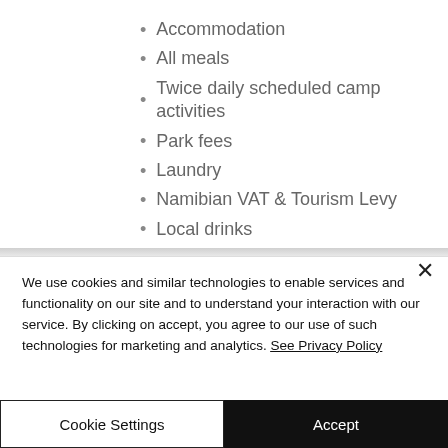Accommodation
All meals
Twice daily scheduled camp activities
Park fees
Laundry
Namibian VAT & Tourism Levy
Local drinks
All transfers between camps
We use cookies and similar technologies to enable services and functionality on our site and to understand your interaction with our service. By clicking on accept, you agree to our use of such technologies for marketing and analytics. See Privacy Policy